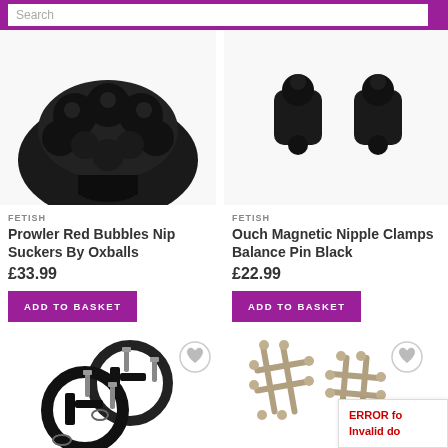[Figure (screenshot): Search bar with purple background at top of e-commerce page]
[Figure (photo): Black bumpy textured sex toy product photo cropped at top]
[Figure (photo): Black magnetic nipple clamps product photo cropped at top]
FETISH
Prowler Red Bubbles Nip Suckers By Oxballs
£33.99
ADD TO BASKET
FETISH
Ouch Magnetic Nipple Clamps Balance Pin Black
£22.99
ADD TO BASKET
[Figure (photo): Black circular nipple clamp devices with screws, product photo]
[Figure (photo): Silver hashtag/tic-tac-toe shaped nipple clamps product photo]
ERROR for Invalid do